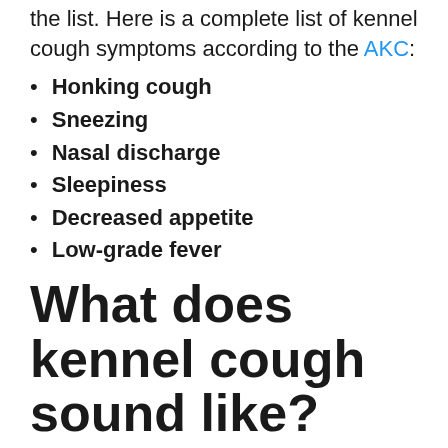the list. Here is a complete list of kennel cough symptoms according to the AKC:
Honking cough
Sneezing
Nasal discharge
Sleepiness
Decreased appetite
Low-grade fever
What does kennel cough sound like?
The classic kennel cough sound is a deep honking cough. It kind of sounds like a goose honking. The cough may get worse